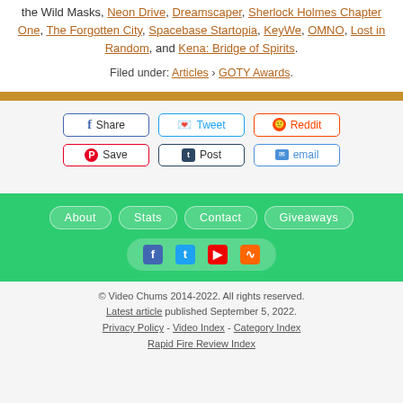the Wild Masks, Neon Drive, Dreamscaper, Sherlock Holmes Chapter One, The Forgotten City, Spacebase Startopia, KeyWe, OMNO, Lost in Random, and Kena: Bridge of Spirits.
Filed under: Articles › GOTY Awards.
Share | Tweet | Reddit | Save | Post | email
About | Stats | Contact | Giveaways
© Video Chums 2014-2022. All rights reserved. Latest article published September 5, 2022. Privacy Policy - Video Index - Category Index Rapid Fire Review Index